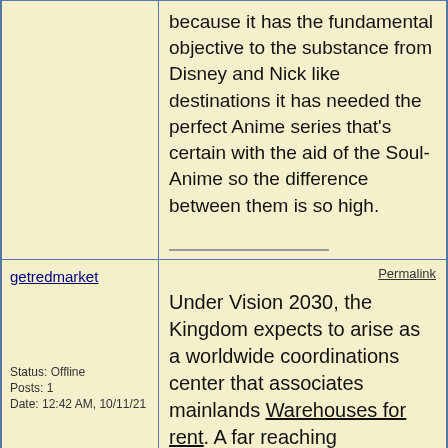because it has the fundamental objective to the substance from Disney and Nick like destinations it has needed the perfect Anime series that's certain with the aid of the Soul-Anime so the difference between them is so high.
getredmarket
Permalink
Status: Offline
Posts: 1
Date: 12:42 AM, 10/11/21
Under Vision 2030, the Kingdom expects to arise as a worldwide coordinations center that associates mainlands Warehouses for rent. A far reaching coordinations methodology has been carried out to accomplish this objectiveone that builds the area's commitment to the GDP